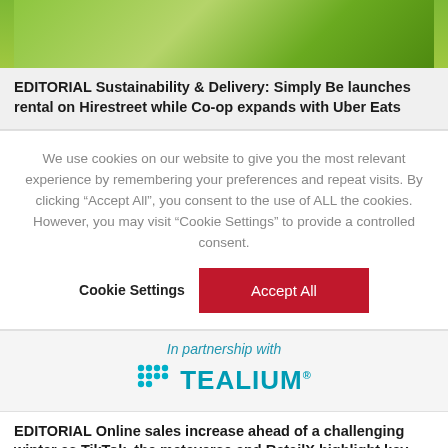[Figure (photo): Green vegetables or produce photo, cropped to show top portion only]
EDITORIAL Sustainability & Delivery: Simply Be launches rental on Hirestreet while Co-op expands with Uber Eats
We use cookies on our website to give you the most relevant experience by remembering your preferences and repeat visits. By clicking “Accept All”, you consent to the use of ALL the cookies. However, you may visit “Cookie Settings” to provide a controlled consent.
Cookie Settings | Accept All
[Figure (logo): In partnership with Tealium logo]
EDITORIAL Online sales increase ahead of a challenging winter as TikTok, the metaverse and RetailX highlight key consumer trends